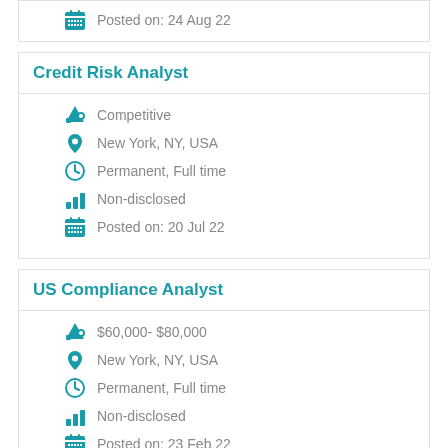Posted on:  24 Aug 22
Credit Risk Analyst
Competitive
New York, NY, USA
Permanent, Full time
Non-disclosed
Posted on:  20 Jul 22
US Compliance Analyst
$60,000- $80,000
New York, NY, USA
Permanent, Full time
Non-disclosed
Posted on:  23 Feb 22